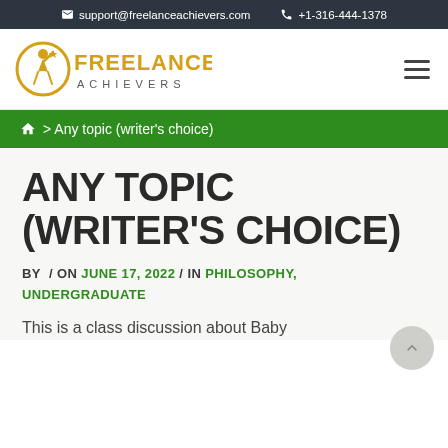support@freelanceachievers.com  +1-316-444-1378
[Figure (logo): Freelance Achievers logo with golden figure and text]
🏠 > Any topic (writer's choice)
ANY TOPIC (WRITER'S CHOICE)
BY / ON JUNE 17, 2022 / IN PHILOSOPHY, UNDERGRADUATE
This is a class discussion about Baby